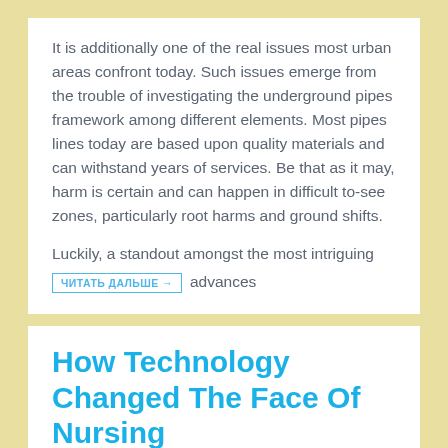It is additionally one of the real issues most urban areas confront today. Such issues emerge from the trouble of investigating the underground pipes framework among different elements. Most pipes lines today are based upon quality materials and can withstand years of services. Be that as it may, harm is certain and can happen in difficult to-see zones, particularly root harms and ground shifts.
Luckily, a standout amongst the most intriguing
ЧИТАТЬ ДАЛЬШЕ → advances
How Technology Changed The Face Of Nursing
No workplace has escaped the touch of technology